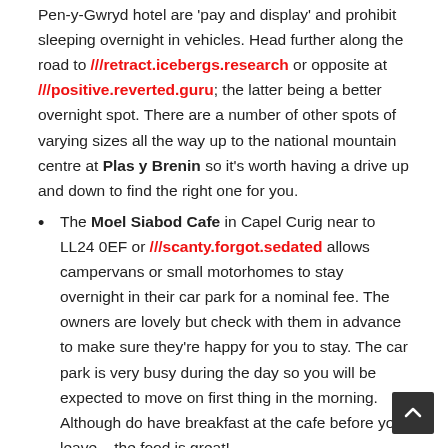...before the first car lay-bye you come to after the Pen-y-Gwryd hotel are 'pay and display' and prohibit sleeping overnight in vehicles. Head further along the road to ///retract.icebergs.research or opposite at ///positive.reverted.guru; the latter being a better overnight spot. There are a number of other spots of varying sizes all the way up to the national mountain centre at Plas y Brenin so it's worth having a drive up and down to find the right one for you.
The Moel Siabod Cafe in Capel Curig near to LL24 0EF or ///scanty.forgot.sedated allows campervans or small motorhomes to stay overnight in their car park for a nominal fee. The owners are lovely but check with them in advance to make sure they're happy for you to stay. The car park is very busy during the day so you will be expected to move on first thing in the morning. Although do have breakfast at the cafe before you leave – the food is great!